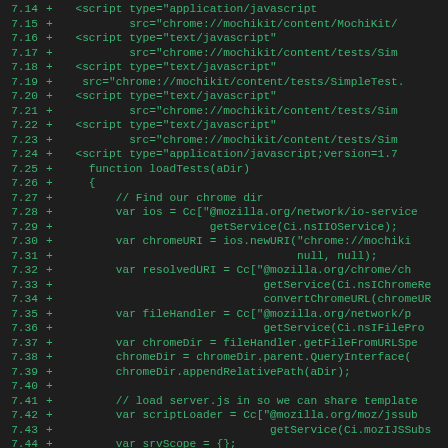Code diff showing lines 7.14 through 7.46 with green text on dark background, displaying JavaScript source code additions with line numbers and + markers